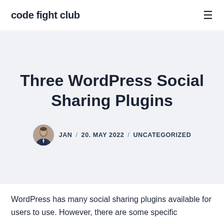code fight club
Three WordPress Social Sharing Plugins
JAN / 20. MAY 2022 / UNCATEGORIZED
WordPress has many social sharing plugins available for users to use. However, there are some specific